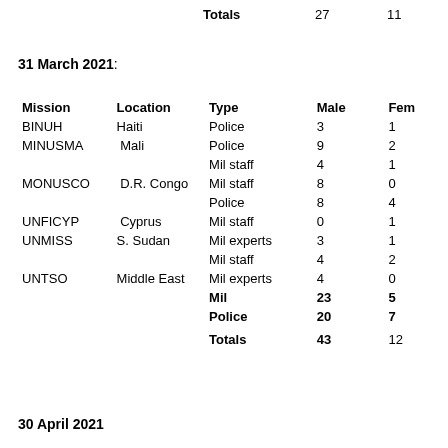| Mission | Location | Type | Male | Female |
| --- | --- | --- | --- | --- |
|  |  | Totals | 27 | 11 |
| BINUH | Haiti | Police | 3 | 1 |
| MINUSMA | Mali | Police | 9 | 2 |
|  |  | Mil staff | 4 | 1 |
| MONUSCO | D.R. Congo | Mil staff | 8 | 0 |
|  |  | Police | 8 | 4 |
| UNFICYP | Cyprus | Mil staff | 0 | 1 |
| UNMISS | S. Sudan | Mil experts | 3 | 1 |
|  |  | Mil staff | 4 | 2 |
| UNTSO | Middle East | Mil experts | 4 | 0 |
|  |  | Mil | 23 | 5 |
|  |  | Police | 20 | 7 |
|  |  | Totals | 43 | 12 |
31 March 2021:
30 April 2021